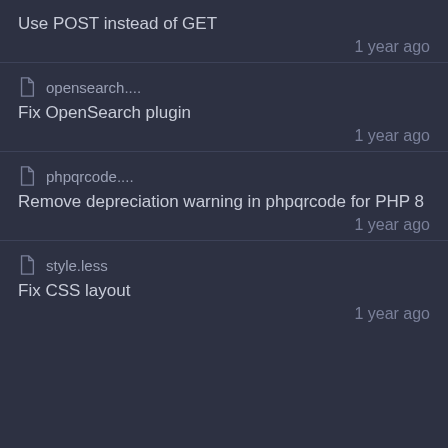Use POST instead of GET
1 year ago
opensearch....
Fix OpenSearch plugin
1 year ago
phpqrcode....
Remove depreciation warning in phpqrcode for PHP 8
1 year ago
style.less
Fix CSS layout
1 year ago